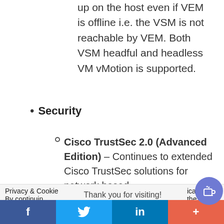up on the host even if VEM is offline i.e. the VSM is not reachable by VEM. Both VSM headful and headless VM vMotion is supported.
Security
Cisco TrustSec 2.0 (Advanced Edition) – Continues to extended Cisco TrustSec solutions for network based
Privacy & Cookie  Thank you for visiting!  ical n  ses.  By continuin  the